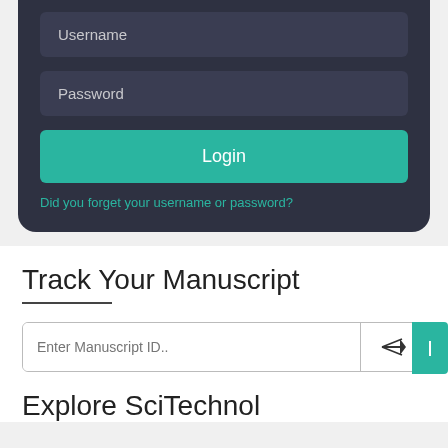[Figure (screenshot): Login form UI with dark background showing Username and Password input fields and a teal Login button]
Did you forget your username or password?
Track Your Manuscript
[Figure (screenshot): Search input field with placeholder 'Enter Manuscript ID..' and a send/submit button icon]
Explore SciTechnol